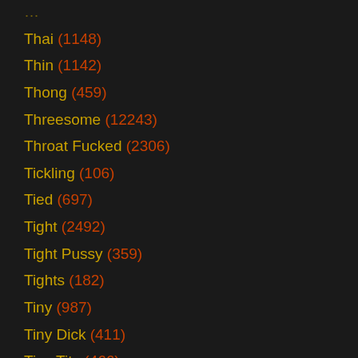Thai (1148)
Thin (1142)
Thong (459)
Threesome (12243)
Throat Fucked (2306)
Tickling (106)
Tied (697)
Tight (2492)
Tight Pussy (359)
Tights (182)
Tiny (987)
Tiny Dick (411)
Tiny Tits (466)
Tit Fucking (1481)
Tit Licking (41)